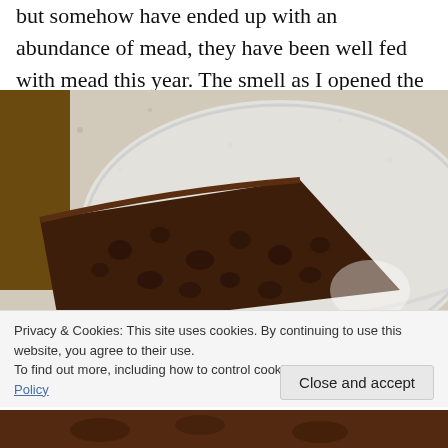but somehow have ended up with an abundance of mead, they have been well fed with mead this year. The smell as I opened the box was pretty potent!
[Figure (photo): A slice of dark fruit cake in a clear plastic container, on a light speckled countertop. The cake is dense and dark brown with visible fruit pieces.]
Privacy & Cookies: This site uses cookies. By continuing to use this website, you agree to their use.
To find out more, including how to control cookies, see here: Cookie Policy
Close and accept
[Figure (photo): Bottom portion of another photo of dark fruit cake, partially visible at the bottom of the page.]